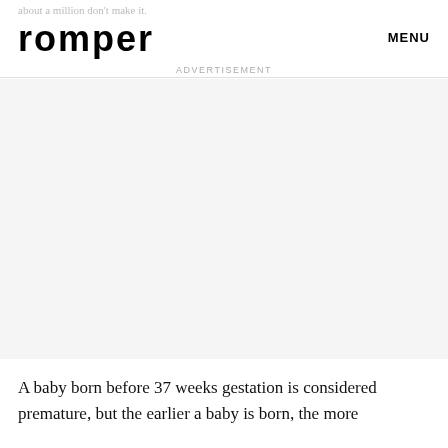about a million don't make it.
romper
MENU
ADVERTISEMENT
[Figure (other): Advertisement placeholder area with light grey background]
A baby born before 37 weeks gestation is considered premature, but the earlier a baby is born, the more